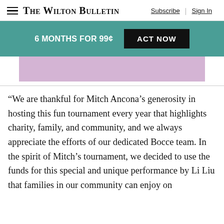The Wilton Bulletin | Subscribe | Sign In
[Figure (infographic): Promotional banner: '6 MONTHS FOR 99¢ ACT NOW' on teal background with black button, followed by a lavender/mauve colored ad strip below]
“We are thankful for Mitch Ancona’s generosity in hosting this fun tournament every year that highlights charity, family, and community, and we always appreciate the efforts of our dedicated Bocce team. In the spirit of Mitch’s tournament, we decided to use the funds for this special and unique performance by Li Liu that families in our community can enjoy on